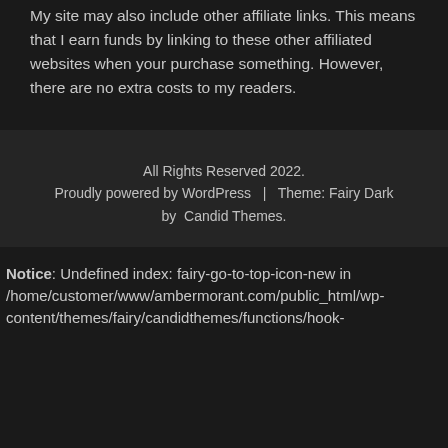My site may also include other affiliate links. This means that I earn funds by linking to these other affiliated websites when your purchase something. However, there are no extra costs to my readers.
All Rights Reserved 2022. Proudly powered by WordPress | Theme: Fairy Dark by Candid Themes.
Notice: Undefined index: fairy-go-to-top-icon-new in /home/customer/www/ambermorant.com/public_html/wp-content/themes/fairy/candidthemes/functions/hook-